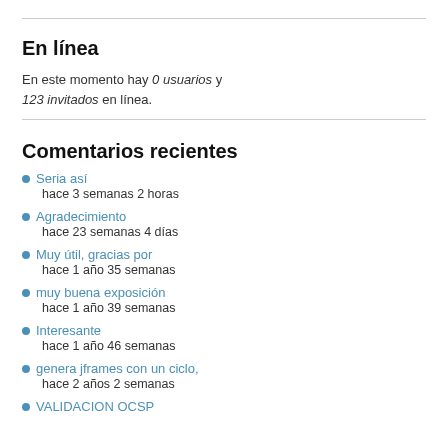En línea
En este momento hay 0 usuarios y 123 invitados en línea.
Comentarios recientes
Seria así
hace 3 semanas 2 horas
Agradecimiento
hace 23 semanas 4 días
Muy útil, gracias por
hace 1 año 35 semanas
muy buena exposición
hace 1 año 39 semanas
Interesante
hace 1 año 46 semanas
genera jframes con un ciclo,
hace 2 años 2 semanas
VALIDACION OCSP